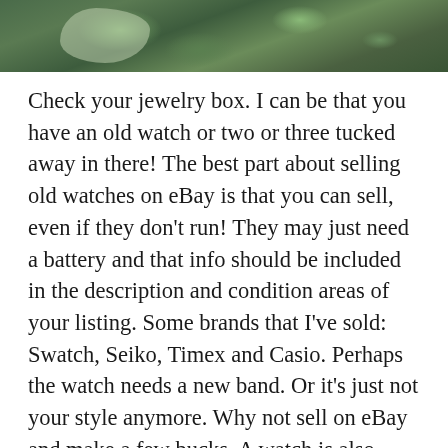[Figure (photo): Close-up photo of green plant leaves, showing silvery-green foliage, partially cropped at the top of the page.]
Check your jewelry box. I can be that you have an old watch or two or three tucked away in there! The best part about selling old watches on eBay is that you can sell, even if they don't run! They may just need a battery and that info should be included in the description and condition areas of your listing. Some brands that I've sold: Swatch, Seiko, Timex and Casio. Perhaps the watch needs a new band. Or it's just not your style anymore. Why not sell on eBay and make a few bucks. A watch is also very easy to list and to ship. A watch needs a couple of close up photos, but heck your phone can do that!